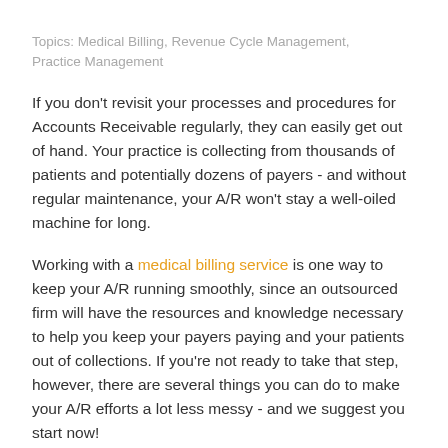Topics: Medical Billing, Revenue Cycle Management, Practice Management
If you don't revisit your processes and procedures for Accounts Receivable regularly, they can easily get out of hand. Your practice is collecting from thousands of patients and potentially dozens of payers - and without regular maintenance, your A/R won't stay a well-oiled machine for long.
Working with a medical billing service is one way to keep your A/R running smoothly, since an outsourced firm will have the resources and knowledge necessary to help you keep your payers paying and your patients out of collections. If you're not ready to take that step, however, there are several things you can do to make your A/R efforts a lot less messy - and we suggest you start now!